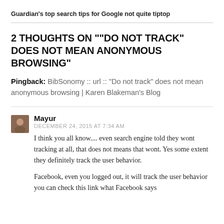Guardian's top search tips for Google not quite tiptop
2 THOUGHTS ON "“DO NOT TRACK” DOES NOT MEAN ANONYMOUS BROWSING"
Pingback: BibSonomy :: url :: “Do not track” does not mean anonymous browsing | Karen Blakeman’s Blog
Mayur
DECEMBER 24, 2015 AT 7:34 AM
I think you all know.... even search engine told they wont tracking at all, that does not means that wont. Yes some extent they definitely track the user behavior.
Facebook, even you logged out, it will track the user behavior you can check this link what Facebook says